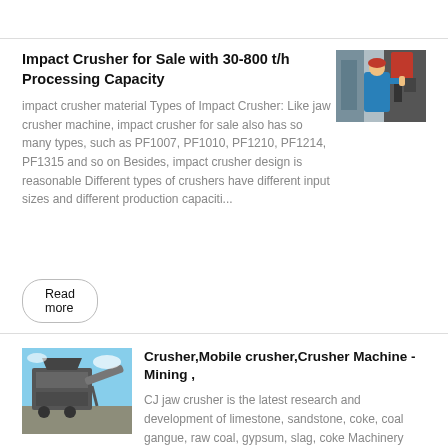Impact Crusher for Sale with 30-800 t/h Processing Capacity
impact crusher material Types of Impact Crusher: Like jaw crusher machine, impact crusher for sale also has so many types, such as PF1007, PF1010, PF1210, PF1214, PF1315 and so on Besides, impact crusher design is reasonable Different types of crushers have different input sizes and different production capaciti...
[Figure (photo): A worker in blue uniform and red hard hat operating industrial equipment in a factory setting]
Read more
[Figure (photo): Industrial crusher machinery outdoors, machinery with large metal frame and conveyor visible]
Crusher,Mobile crusher,Crusher Machine - Mining ,
CJ jaw crusher is the latest research and development of limestone, sandstone, coke, coal gangue, raw coal, gypsum, slag, coke Machinery stone crushing equipment Large